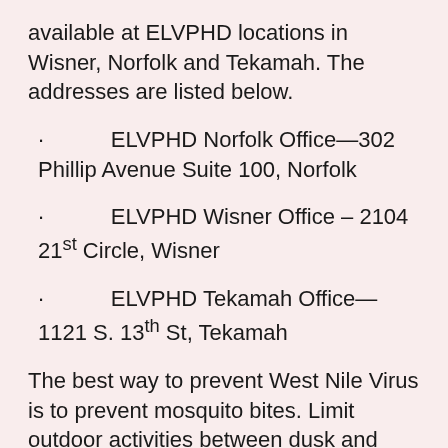available at ELVPHD locations in Wisner, Norfolk and Tekamah. The addresses are listed below.
ELVPHD Norfolk Office—302 Phillip Avenue Suite 100, Norfolk
ELVPHD Wisner Office – 2104 21st Circle, Wisner
ELVPHD Tekamah Office—1121 S. 13th St, Tekamah
The best way to prevent West Nile Virus is to prevent mosquito bites. Limit outdoor activities between dusk and dawn, use